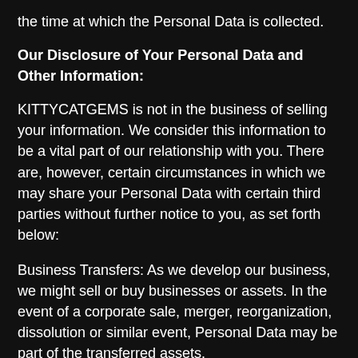the time at which the Personal Data is collected.
Our Disclosure of Your Personal Data and Other Information:
KITTYCATGEMS is not in the business of selling your information. We consider this information to be a vital part of our relationship with you. There are, however, certain circumstances in which we may share your Personal Data with certain third parties without further notice to you, as set forth below:
Business Transfers: As we develop our business, we might sell or buy businesses or assets. In the event of a corporate sale, merger, reorganization, dissolution or similar event, Personal Data may be part of the transferred assets.
Related Companies: We may also share your Personal Data with our Related Companies for purposes consistent with this Privacy Policy.